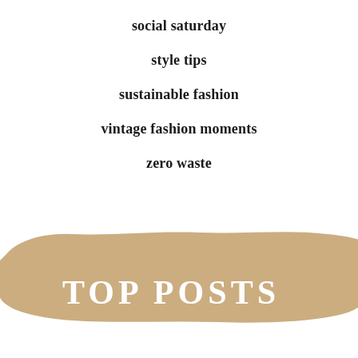social saturday
style tips
sustainable fashion
vintage fashion moments
zero waste
TOP POSTS